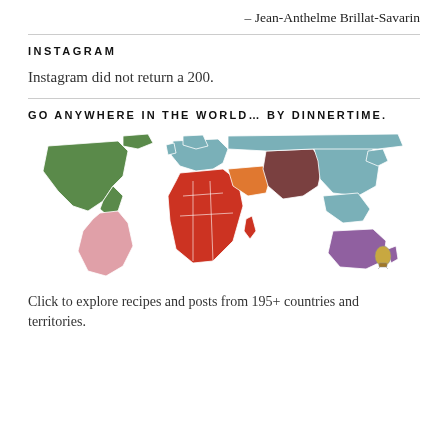– Jean-Anthelme Brillat-Savarin
INSTAGRAM
Instagram did not return a 200.
GO ANYWHERE IN THE WORLD… BY DINNERTIME.
[Figure (map): Colorful world map with regions highlighted in different colors: North America in green, South America in pink, Europe in teal/blue, Africa in red/orange, Middle East in orange, Central/South Asia in brown/dark, Southeast Asia and East Asia in teal, Australia in purple.]
Click to explore recipes and posts from 195+ countries and territories.